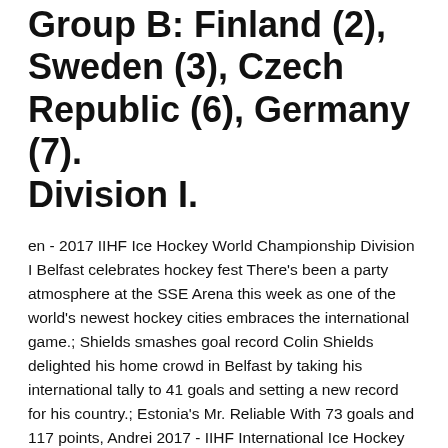Group B: Finland (2), Sweden (3), Czech Republic (6), Germany (7).
Division I.
en - 2017 IIHF Ice Hockey World Championship Division I Belfast celebrates hockey fest There's been a party atmosphere at the SSE Arena this week as one of the world's newest hockey cities embraces the international game.; Shields smashes goal record Colin Shields delighted his home crowd in Belfast by taking his international tally to 41 goals and setting a new record for his country.; Estonia's Mr. Reliable With 73 goals and 117 points, Andrei 2017 - IIHF International Ice Hockey Federation
IIHF Inline rule book - webarchive.iihf.com
May 14, 2017 · The IIHF is proud the bring you the 2017 IIHF Ice Hockey World Championship live from Paris and Cologne.